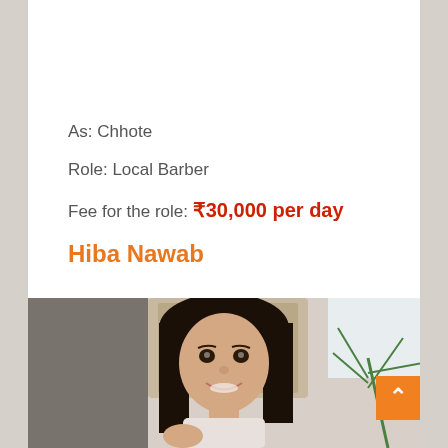[Figure (photo): Partial photo of a person wearing a red and white striped t-shirt, showing torso area with an arm visible.]
As: Chhote
Role: Local Barber
Fee for the role: ₹30,000 per day
Hiba Nawab
[Figure (photo): Photo of a young woman (Hiba Nawab) with long dark hair, smiling, wearing a light-colored outfit, with a decorative background and palm plant.]